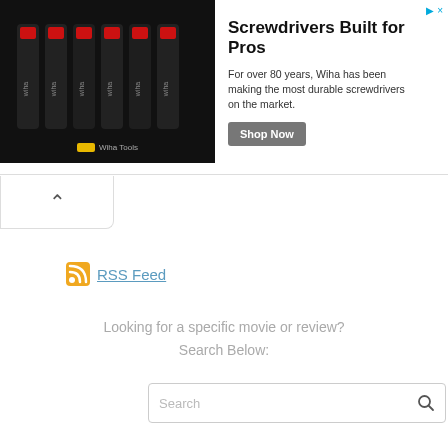[Figure (infographic): Advertisement banner for Wiha Tools screwdrivers. Shows multiple black screwdrivers with red accents on dark background. Title: Screwdrivers Built for Pros. Text: For over 80 years, Wiha has been making the most durable screwdrivers on the market. Button: Shop Now. Logo: Wiha Tools.]
RSS Feed
Looking for a specific movie or review?
Search Below: